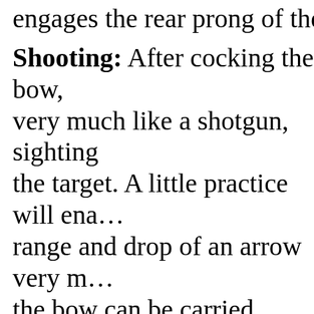engages the rear prong of the relea…
Shooting: After cocking the bow, very much like a shotgun, sighting the target. A little practice will enable range and drop of an arrow very m… the bow can be carried cocked but not in use, the steel bow is left bra… bow is unstrung. Needless to say, a… packs a terrific drive, and the utmo… exercised in its use. Never fit an ar… are ready to shoot, and don't point other direction than toward the ta…